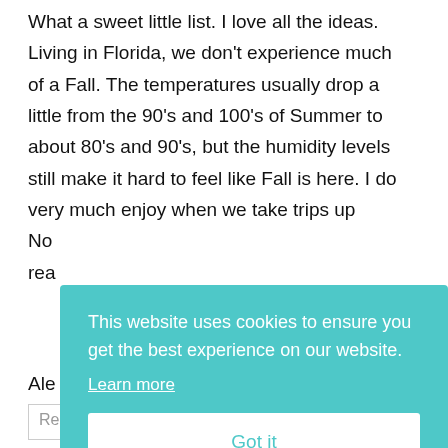What a sweet little list. I love all the ideas. Living in Florida, we don't experience much of a Fall. The temperatures usually drop a little from the 90's and 100's of Summer to about 80's and 90's, but the humidity levels still make it hard to feel like Fall is here. I do very much enjoy when we take trips up No[rth and can] rea[lly feel it...]
Ale[...]
Ey[...]
Reply
This website uses cookies to ensure you get the best experience on our website. Learn more
Got it